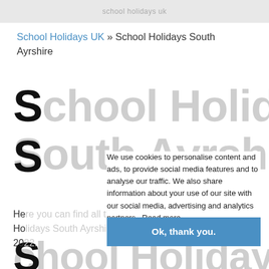School Holidays UK
School Holidays UK » School Holidays South Ayrshire
School Holidays South Ayrshire
We use cookies to personalise content and ads, to provide social media features and to analyse our traffic. We also share information about your use of our site with our social media, advertising and analytics partners. Read more.
Here you can find all the School Holidays South Ayrshire Holidays 2022.
Ok, thank you.
School Holidays 2021 South Ayrshire